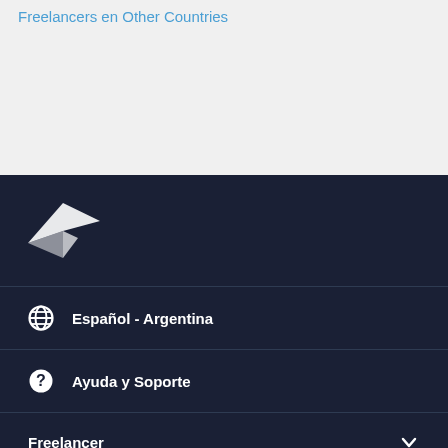Freelancers en Other Countries
[Figure (logo): Freelancer.com bird logo in white on dark navy background]
Español - Argentina
Ayuda y Soporte
Freelancer